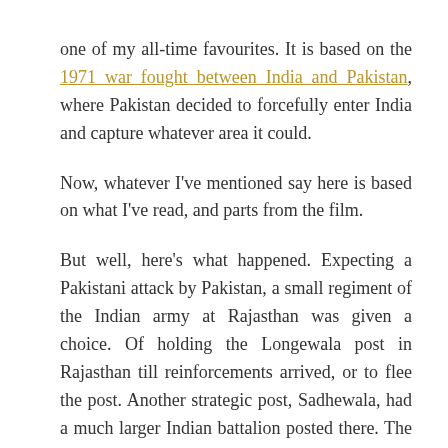one of my all-time favourites. It is based on the 1971 war fought between India and Pakistan, where Pakistan decided to forcefully enter India and capture whatever area it could.
Now, whatever I've mentioned say here is based on what I've read, and parts from the film.
But well, here's what happened. Expecting a Pakistani attack by Pakistan, a small regiment of the Indian army at Rajasthan was given a choice. Of holding the Longewala post in Rajasthan till reinforcements arrived, or to flee the post. Another strategic post, Sadhewala, had a much larger Indian battalion posted there. The Pakistanis had planned to attack the Longewala post with a much larger tank battalion. The Major heading the small regiment questions his commanding officer